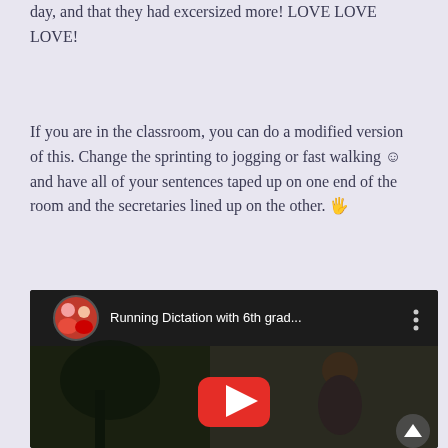day, and that they had excersized more! LOVE LOVE LOVE!
If you are in the classroom, you can do a modified version of this. Change the sprinting to jogging or fast walking ☺ and have all of your sentences taped up on one end of the room and the secretaries lined up on the other. 🖐
[Figure (screenshot): YouTube video thumbnail showing 'Running Dictation with 6th grad...' with a circular avatar photo of two people on the left, a dark outdoor scene video thumbnail, and a red YouTube play button in the center. A vertical three-dot menu icon appears on the right side of the header. A scroll-up button appears at the bottom right.]